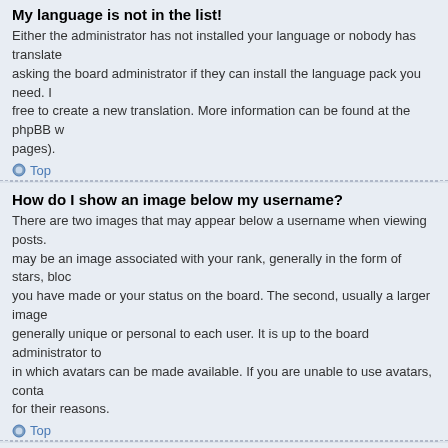My language is not in the list!
Either the administrator has not installed your language or nobody has translated this board into your language. Try asking the board administrator if they can install the language pack you need. If the language pack does not exist, feel free to create a new translation. More information can be found at the phpBB website (see link at the bottom of board pages).
Top
How do I show an image below my username?
There are two images that may appear below a username when viewing posts. One of these images may be an image associated with your rank, generally in the form of stars, blocks or dots, indicating how many posts you have made or your status on the board. The second, usually a larger image, is known as an avatar and is generally unique or personal to each user. It is up to the board administrator to enable avatars and to choose the way in which avatars can be made available. If you are unable to use avatars, contact a board administrator and ask them for their reasons.
Top
What is my rank and how do I change it?
Ranks, which appear below your username, indicate the number of posts you have made or identify certain users, e.g. moderators and administrators. In general, you cannot directly change the wording of any board ranks as they are set by the board administrator. Please do not abuse the board by posting unnecessarily just to increase your rank. Most boards will not tolerate this and the moderator or administrator will simply lower your post count.
Top
When I click the e-mail link for a user it asks me to login?
Only registered users can send e-mail to other users via the built-in e-mail form, and only if the administrator has enabled this feature. This is to prevent malicious use of the e-mail system by anonymous users.